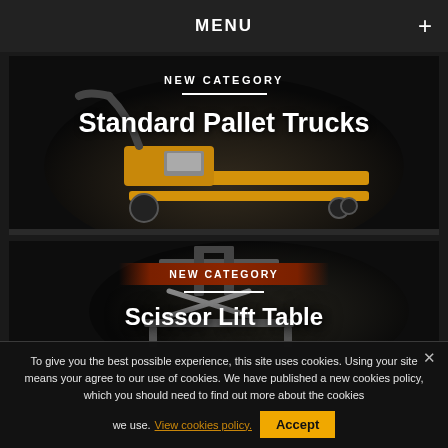MENU
[Figure (photo): Yellow standard pallet truck on dark background with 'NEW CATEGORY' label and title 'Standard Pallet Trucks']
[Figure (photo): Scissor lift table on dark background with 'NEW CATEGORY' banner and title 'Scissor Lift Table']
To give you the best possible experience, this site uses cookies. Using your site means your agree to our use of cookies. We have published a new cookies policy, which you should need to find out more about the cookies we use. View cookies policy. Accept